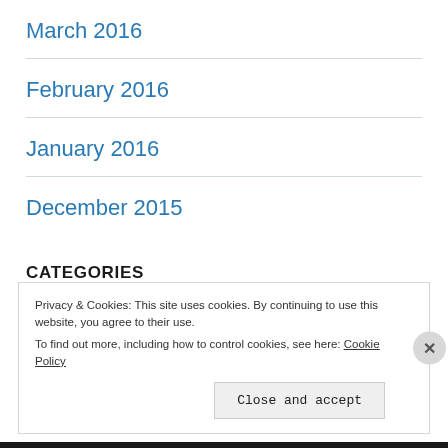March 2016
February 2016
January 2016
December 2015
CATEGORIES
Canada
Privacy & Cookies: This site uses cookies. By continuing to use this website, you agree to their use.
To find out more, including how to control cookies, see here: Cookie Policy
Close and accept